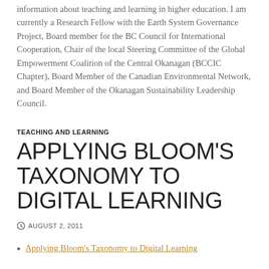information about teaching and learning in higher education. I am currently a Research Fellow with the Earth System Governance Project, Board member for the BC Council for International Cooperation, Chair of the local Steering Committee of the Global Empowerment Coalition of the Central Okanagan (BCCIC Chapter), Board Member of the Canadian Environmental Network, and Board Member of the Okanagan Sustainability Leadership Council.
TEACHING AND LEARNING
APPLYING BLOOM'S TAXONOMY TO DIGITAL LEARNING
AUGUST 2, 2011
Applying Bloom's Taxonomy to Digital Learning
“It’s not about the tools. It’s using the tools to facilitate